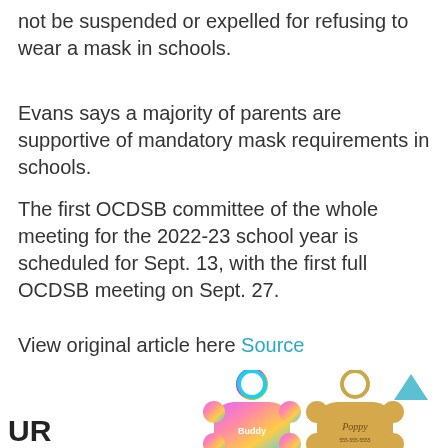not be suspended or expelled for refusing to wear a mask in schools.
Evans says a majority of parents are supportive of mandatory mask requirements in schools.
The first OCDSB committee of the whole meeting for the 2022-23 school year is scheduled for Sept. 13, with the first full OCDSB meeting on Sept. 27.
View original article here Source
[Figure (photo): Product image showing colorful dog ID tags in bone shapes with key rings, including a rainbow/iridescent tag and a gold tag labeled 'Poppy', plus four smaller tags in pink, black, blue, and silver colors.]
UR...